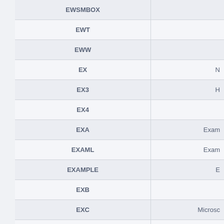| Name | Description |
| --- | --- |
| EWSMBOX |  |
| EWT |  |
| EWW |  |
| EX | N… |
| EX3 | H… |
| EX4 |  |
| EXA | Exam… |
| EXAML | Exam… |
| EXAMPLE | E… |
| EXB |  |
| EXC | Microso… |
| EXD | Co… |
| EXE |  |